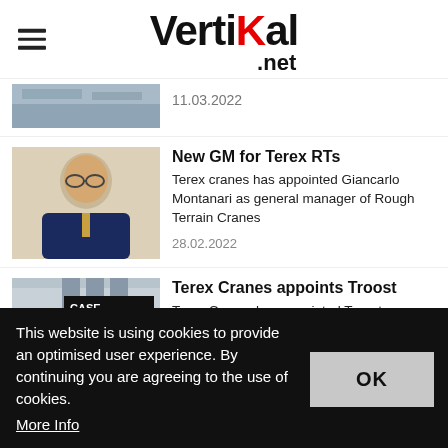VertiKal .net
11.03.2022
New GM for Terex RTs
Terex cranes has appointed Giancarlo Montanari as general manager of Rough Terrain Cranes
28.02.2022
Terex Cranes appoints Troost
Terex Cranes has appointed Troost
This website is using cookies to provide an optimised user experience. By continuing you are agreeing to the use of cookies. More Info